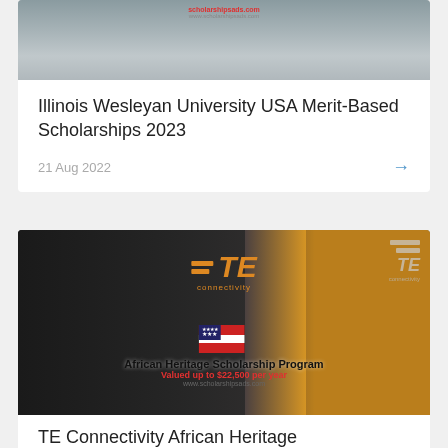[Figure (photo): Photo of Illinois Wesleyan University campus building, partially visible at top of page]
Illinois Wesleyan University USA Merit-Based Scholarships 2023
21 Aug 2022
[Figure (photo): TE Connectivity African Heritage Scholarship Program promotional image showing group of African heritage students/professionals with TE Connectivity logo and text: African Heritage Scholarship Program, Valued up to $22,500 per year, www.scholarshipsads.com]
TE Connectivity African Heritage